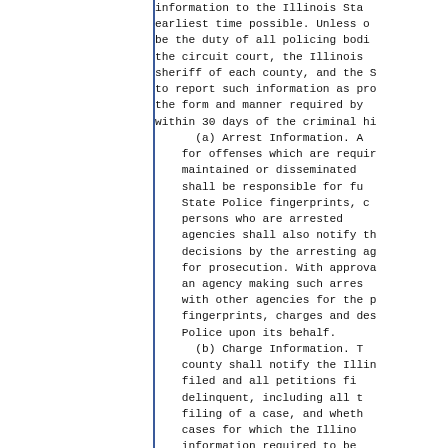information to the Illinois Sta earliest time possible. Unless o be the duty of all policing bodi the circuit court, the Illinois sheriff of each county, and the to report such information as pr the form and manner required by within 30 days of the criminal h (a) Arrest Information. A for offenses which are requir maintained or disseminated shall be responsible for fu State Police fingerprints, c persons who are arrested agencies shall also notify t decisions by the arresting a for prosecution. With approv an agency making such arres with other agencies for the fingerprints, charges and de Police upon its behalf. (b) Charge Information. county shall notify the Illi filed and all petitions fi delinquent, including all filing of a case, and whet cases for which the Illin information required to be (a) of this Section. With Police. the State's Attorne